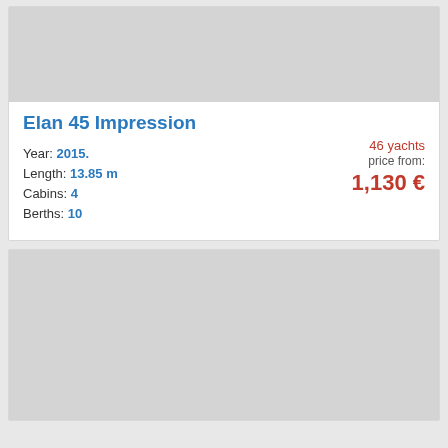[Figure (photo): Grey placeholder image for yacht photo]
Elan 45 Impression
Year: 2015.
Length: 13.85 m
Cabins: 4
Berths: 10
46 yachts
price from:
1,130 €
[Figure (photo): Grey placeholder image for second yacht photo]